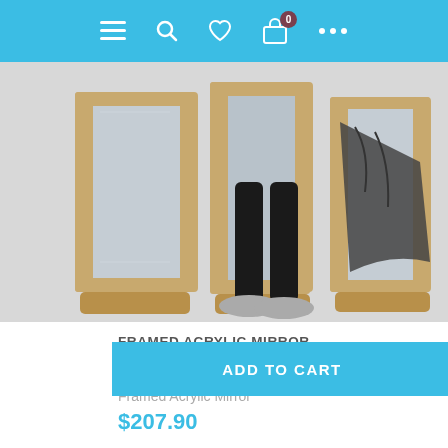[Figure (screenshot): Mobile e-commerce app navigation bar with hamburger menu, search, heart/wishlist, shopping cart with badge showing 0, and more options (ellipsis) icons on blue background]
[Figure (photo): Product photo showing a framed acrylic mirror with wooden frame, person visible in reflection wearing sneakers and black pants, with dark patterned cloth draped over frame]
FRAMED ACRYLIC MIRROR
[Figure (other): 5 empty/outline star rating icons in light gray]
Framed Acrylic Mirror
$207.90
[Figure (screenshot): Blue ADD TO CART button with dark gray heart/wishlist button to the right, and a blue scroll-to-top arrow button overlapping bottom right corner]